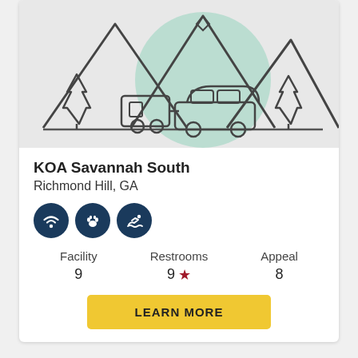[Figure (illustration): Camping illustration showing mountains, pine trees, a car towing a trailer/camper, on a light gray background with a teal circular accent. Outline icon style.]
KOA Savannah South
Richmond Hill, GA
[Figure (infographic): Three navy blue circle icons: WiFi signal icon, paw print icon, swimmer/swimming icon]
| Facility | Restrooms | Appeal |
| --- | --- | --- |
| 9 | 9 ★ | 8 |
LEARN MORE